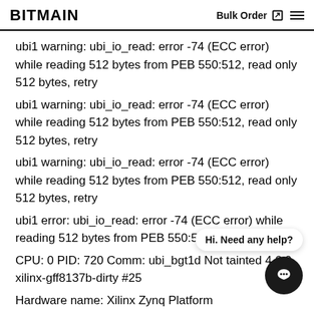BITMAIN | Bulk Order
ubi1 warning: ubi_io_read: error -74 (ECC error) while reading 512 bytes from PEB 550:512, read only 512 bytes, retry
ubi1 warning: ubi_io_read: error -74 (ECC error) while reading 512 bytes from PEB 550:512, read only 512 bytes, retry
ubi1 warning: ubi_io_read: error -74 (ECC error) while reading 512 bytes from PEB 550:512, read only 512 bytes, retry
ubi1 error: ubi_io_read: error -74 (ECC error) while reading 512 bytes from PEB 550:512, read 512 bytes
CPU: 0 PID: 720 Comm: ubi_bgt1d Not tainted 4.6.0-xilinx-gff8137b-dirty #25
Hardware name: Xilinx Zynq Platform
[<c010e718>] (unwind_backtrace) from [<c010a8d0>] (show_stack+0x10/0x14)